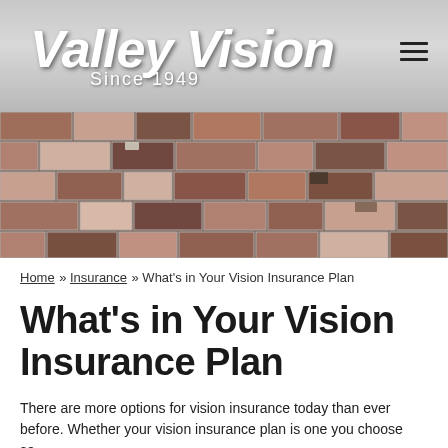[Figure (logo): Valley Vision logo with script text and 'Since 1949' tagline on a grey gradient background with hamburger menu icon]
[Figure (photo): Wide banner photograph of an old rustic red brick wall with varied brick colors and mortar]
Home » Insurance » What's in Your Vision Insurance Plan
What's in Your Vision Insurance Plan
There are more options for vision insurance today than ever before. Whether your vision insurance plan is one you choose so...